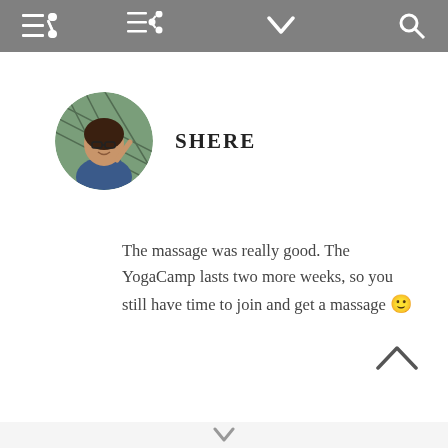Navigation bar with menu, dropdown, and search icons
[Figure (photo): Circular profile photo of a woman with glasses, smiling, outdoors with a hammock or net in background]
SHERE
The massage was really good. The YogaCamp lasts two more weeks, so you still have time to join and get a massage 🙂
v